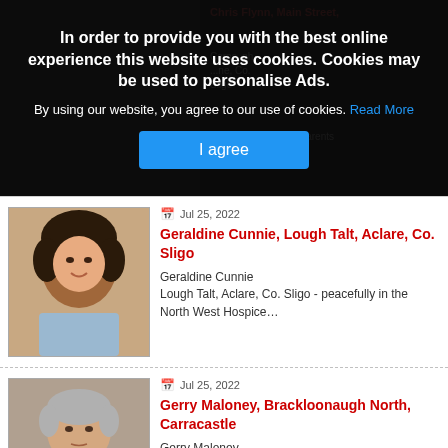In order to provide you with the best online experience this website uses cookies. Cookies may be used to personalise Ads.
By using our website, you agree to our use of cookies. Read More
I agree
[Figure (photo): Photo of Geraldine Cunnie, a woman with dark curly hair]
Jul 25, 2022
Geraldine Cunnie, Lough Talt, Aclare, Co. Sligo
Geraldine Cunnie Lough Talt, Aclare, Co. Sligo - peacefully in the North West Hospice…
[Figure (photo): Photo of Gerry Maloney, an older man with grey hair]
Jul 25, 2022
Gerry Maloney, Brackloonaugh North, Carracastle
Gerry Maloney